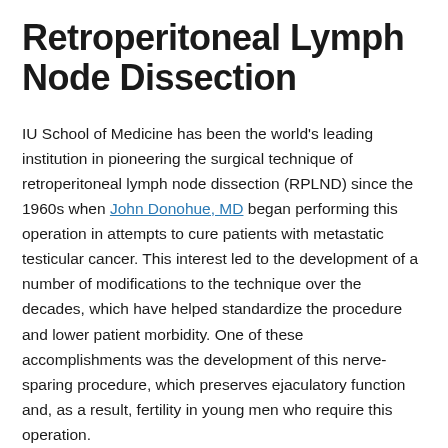Retroperitoneal Lymph Node Dissection
IU School of Medicine has been the world's leading institution in pioneering the surgical technique of retroperitoneal lymph node dissection (RPLND) since the 1960s when John Donohue, MD began performing this operation in attempts to cure patients with metastatic testicular cancer. This interest led to the development of a number of modifications to the technique over the decades, which have helped standardize the procedure and lower patient morbidity. One of these accomplishments was the development of this nerve-sparing procedure, which preserves ejaculatory function and, as a result, fertility in young men who require this operation.